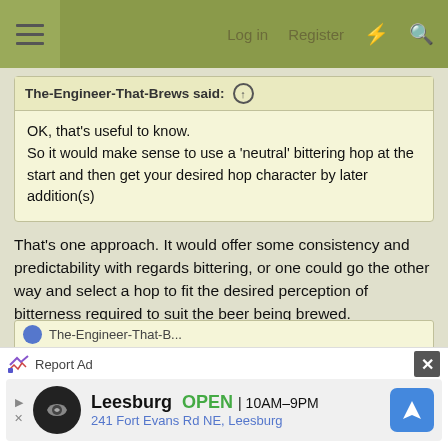Log in  Register
The-Engineer-That-Brews said:
OK, that's useful to know.
So it would make sense to use a 'neutral' bittering hop at the start and then get your desired hop character by later addition(s)
That's one approach. It would offer some consistency and predictability with regards bittering, or one could go the other way and select a hop to fit the desired perception of bitterness required to suit the beer being brewed.
Reply
[Figure (infographic): Advertisement banner: Leesburg OPEN 10AM-9PM, 241 Fort Evans Rd NE Leesburg]